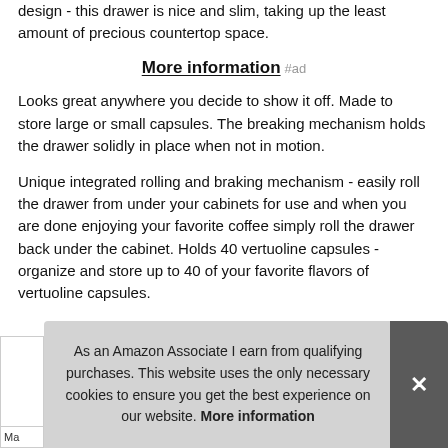design - this drawer is nice and slim, taking up the least amount of precious countertop space.
More information #ad
Looks great anywhere you decide to show it off. Made to store large or small capsules. The breaking mechanism holds the drawer solidly in place when not in motion.
Unique integrated rolling and braking mechanism - easily roll the drawer from under your cabinets for use and when you are done enjoying your favorite coffee simply roll the drawer back under the cabinet. Holds 40 vertuoline capsules - organize and store up to 40 of your favorite flavors of vertuoline capsules.
As an Amazon Associate I earn from qualifying purchases. This website uses the only necessary cookies to ensure you get the best experience on our website. More information